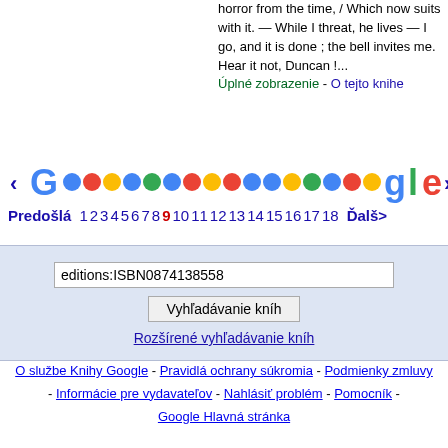horror from the time, / Which now suits with it. — While I threat, he lives — I go, and it is done ; the bell invites me. Hear it not, Duncan !... Úplné zobrazenie - O tejto knihe
[Figure (other): Google pagination bar with left arrow, Google logo spelled out as colored circles, page numbers 1-18 with 9 highlighted in red, Predošlá and Ďalšia navigation links]
Predošlá  1 2 3 4 5 6 7 8 9 10 11 12 13 14 15 16 17 18  Ďalšia
editions:ISBN0874138558
Vyhľadávanie kníh
Rozšírené vyhľadávanie kníh
O službe Knihy Google - Pravidlá ochrany súkromia - Podmienky zmluvy - Informácie pre vydavateľov - Nahlásiť problém - Pomocník - Google Hlavná stránka